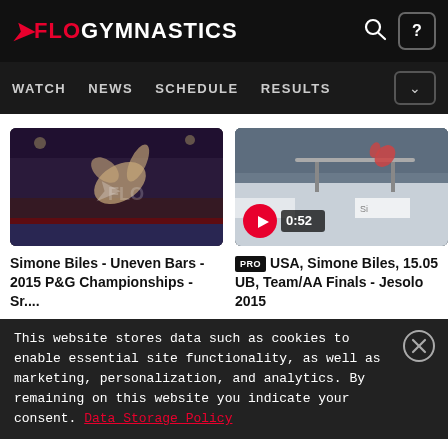FLOGYMNASTICS
WATCH  NEWS  SCHEDULE  RESULTS
[Figure (photo): Gymnast performing on uneven bars, blurred action shot in arena]
Simone Biles - Uneven Bars - 2015 P&G Championships - Sr....
[Figure (photo): Gymnast on uneven bars in arena with spectators, play button overlay showing 0:52 duration]
PRO USA, Simone Biles, 15.05 UB, Team/AA Finals - Jesolo 2015
This website stores data such as cookies to enable essential site functionality, as well as marketing, personalization, and analytics. By remaining on this website you indicate your consent. Data Storage Policy